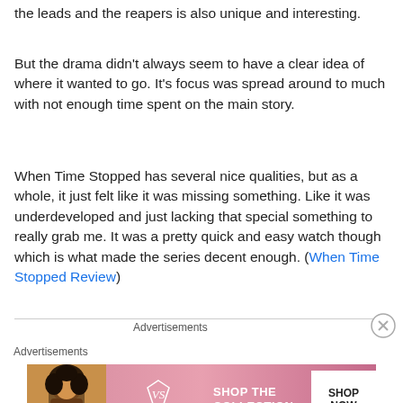the leads and the reapers is also unique and interesting.
But the drama didn't always seem to have a clear idea of where it wanted to go. It's focus was spread around to much with not enough time spent on the main story.
When Time Stopped has several nice qualities, but as a whole, it just felt like it was missing something. Like it was underdeveloped and just lacking that special something to really grab me. It was a pretty quick and easy watch though which is what made the series decent enough. (When Time Stopped Review)
Advertisements
Advertisements
[Figure (other): Victoria's Secret advertisement banner with model photo, VS logo, 'SHOP THE COLLECTION' text, and 'SHOP NOW' call-to-action button]